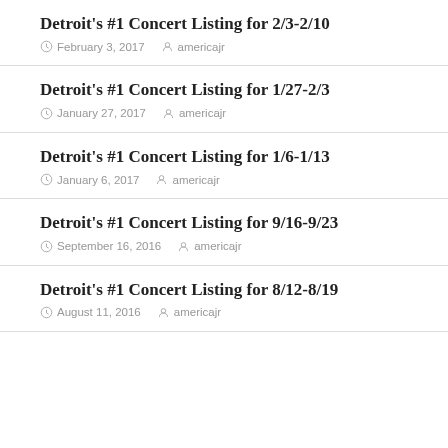Detroit's #1 Concert Listing for 2/3-2/10
February 3, 2017   americajr
Detroit's #1 Concert Listing for 1/27-2/3
January 27, 2017   americajr
Detroit's #1 Concert Listing for 1/6-1/13
January 6, 2017   americajr
Detroit's #1 Concert Listing for 9/16-9/23
September 16, 2016   americajr
Detroit's #1 Concert Listing for 8/12-8/19
August 11, 2016   americajr